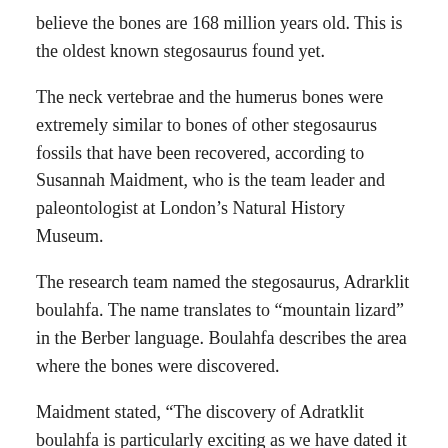believe the bones are 168 million years old. This is the oldest known stegosaurus found yet.
The neck vertebrae and the humerus bones were extremely similar to bones of other stegosaurus fossils that have been recovered, according to Susannah Maidment, who is the team leader and paleontologist at London's Natural History Museum.
The research team named the stegosaurus, Adrarklit boulahfa. The name translates to “mountain lizard” in the Berber language. Boulahfa describes the area where the bones were discovered.
Maidment stated, “The discovery of Adratklit boulahfa is particularly exciting as we have dated it to the middle Jurassic. Most know stegosaurs date from far later in the Jurassic period, making this the oldest definite stegosaur described and helping to increase our understanding of the evolution of this group of dinosaurs.”